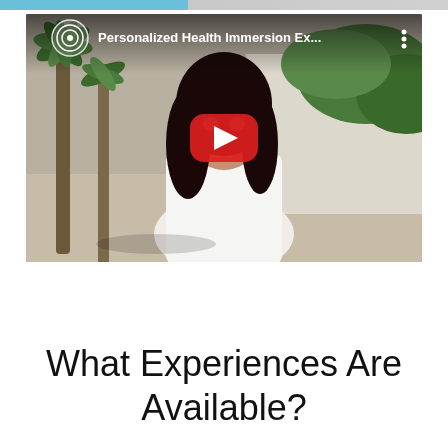[Figure (screenshot): YouTube video thumbnail showing a young woman with long dark hair wearing a white top, standing outdoors near palm trees and a white wall. The video title reads 'Personalized Health Immersion Ex...' with a YouTube channel logo icon in the top-left corner, three-dot menu icon in top-right, and a large red YouTube play button in the center.]
What Experiences Are Available?